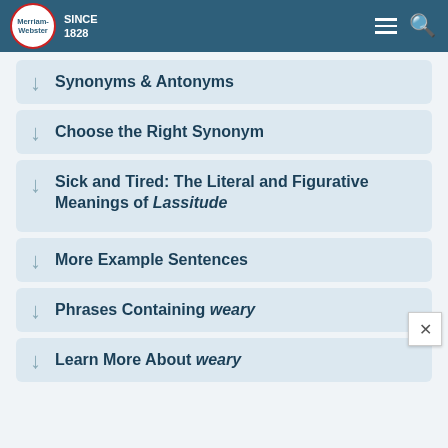Merriam-Webster SINCE 1828
Synonyms & Antonyms
Choose the Right Synonym
Sick and Tired: The Literal and Figurative Meanings of Lassitude
More Example Sentences
Phrases Containing weary
Learn More About weary